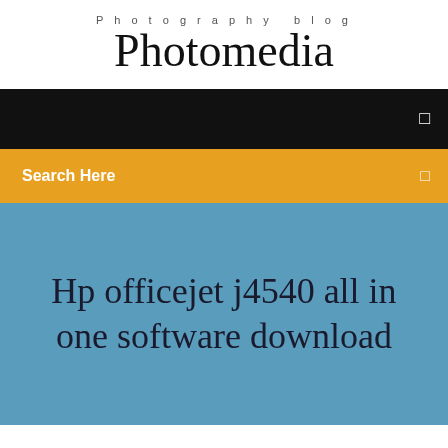Photography blog
Photomedia
Search Here
Hp officejet j4540 all in one software download